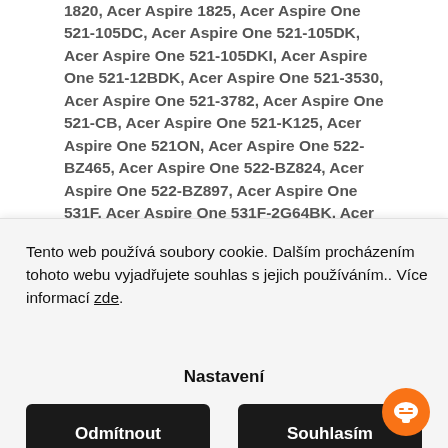1820, Acer Aspire 1825, Acer Aspire One 521-105DC, Acer Aspire One 521-105DK, Acer Aspire One 521-105DKI, Acer Aspire One 521-12BDK, Acer Aspire One 521-3530, Acer Aspire One 521-3782, Acer Aspire One 521-CB, Acer Aspire One 521-K125, Acer Aspire One 521ON, Acer Aspire One 522-BZ465, Acer Aspire One 522-BZ824, Acer Aspire One 522-BZ897, Acer Aspire One 531F, Acer Aspire One 531F-2G64BK, Acer Aspire One 531H-06K, Acer Aspire One 531H-1077, Acer Aspire One 531H-1791, Acer Aspire One 531H-...
Tento web používá soubory cookie. Dalším procházením tohoto webu vyjadřujete souhlas s jejich používáním.. Více informací zde.
Nastavení
Odmítnout
Souhlasím